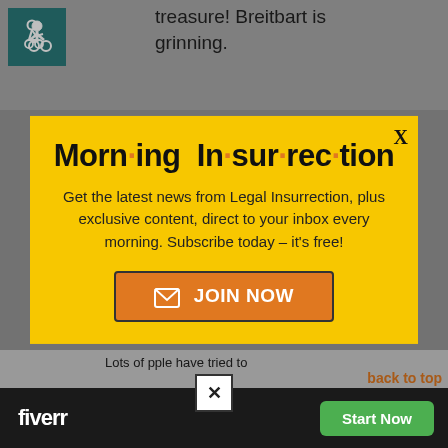treasure! Breitbart is grinning.
Spiny Norman in reply to
[Figure (infographic): Morning Insurrection newsletter signup modal with yellow background, bold title 'Morn·ing In·sur·rec·tion', descriptive text about Legal Insurrection newsletter, and orange JOIN NOW button]
Lots of people have tried to
back to top
[Figure (infographic): Fiverr advertisement banner at bottom: dark background with white 'fiverr' logo and green 'Start Now' button]